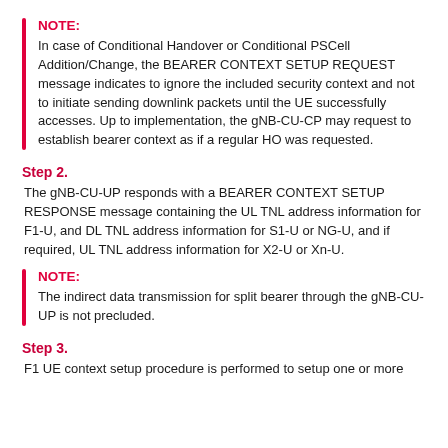NOTE: In case of Conditional Handover or Conditional PSCell Addition/Change, the BEARER CONTEXT SETUP REQUEST message indicates to ignore the included security context and not to initiate sending downlink packets until the UE successfully accesses. Up to implementation, the gNB-CU-CP may request to establish bearer context as if a regular HO was requested.
Step 2.
The gNB-CU-UP responds with a BEARER CONTEXT SETUP RESPONSE message containing the UL TNL address information for F1-U, and DL TNL address information for S1-U or NG-U, and if required, UL TNL address information for X2-U or Xn-U.
NOTE: The indirect data transmission for split bearer through the gNB-CU-UP is not precluded.
Step 3.
F1 UE context setup procedure is performed to setup one or more